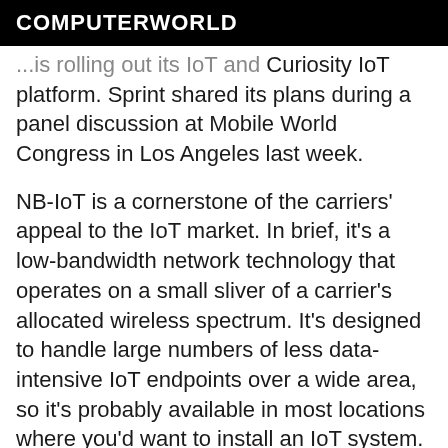COMPUTERWORLD
...is rolling out its IoT and Curiosity IoT platform. Sprint shared its plans during a panel discussion at Mobile World Congress in Los Angeles last week.
NB-IoT is a cornerstone of the carriers' appeal to the IoT market. In brief, it's a low-bandwidth network technology that operates on a small sliver of a carrier's allocated wireless spectrum. It's designed to handle large numbers of less data-intensive IoT endpoints over a wide area, so it's probably available in most locations where you'd want to install an IoT system.
Rolling out more capable IoT-focused networking options can only deepen that appeal, now that each of